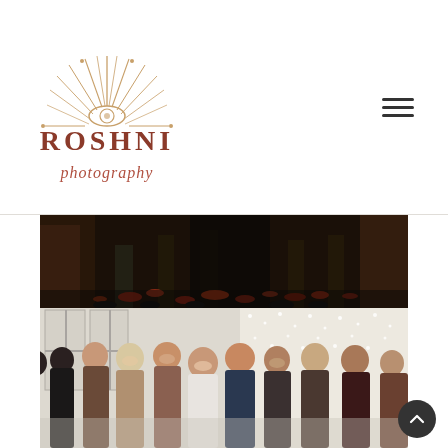[Figure (logo): Roshni Photography logo: sunburst/art-deco style radiant design above the text 'ROSHNI photography' in a brownish-rose color]
[Figure (photo): Dark wedding reception photo showing legs/feet on a floor scattered with red rose petals, guests standing in formal wear]
[Figure (photo): Bright indoor wedding photo showing a large group of smiling guests gathered together in a bright room with large windows and fairy lights on the wall]